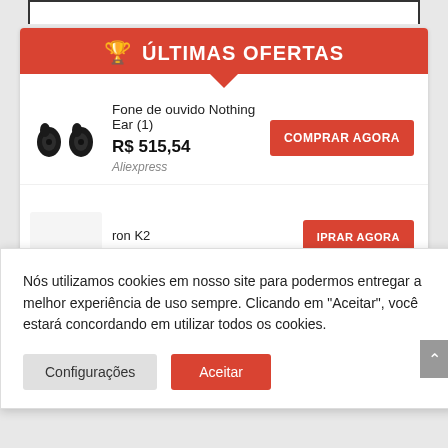🏆 ÚLTIMAS OFERTAS
Fone de ouvido Nothing Ear (1)
R$ 515,54
Aliexpress
COMPRAR AGORA
ron K2
IPRAR AGORA
Nós utilizamos cookies em nosso site para podermos entregar a melhor experiência de uso sempre. Clicando em "Aceitar", você estará concordando em utilizar todos os cookies.
Configurações
Aceitar
IPRAR AGORA
Aliexpress